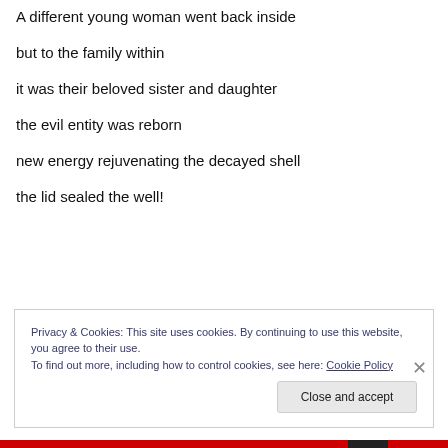A different young woman went back inside
but to the family within
it was their beloved sister and daughter
the evil entity was reborn
new energy rejuvenating the decayed shell
the lid sealed the well!
Privacy & Cookies: This site uses cookies. By continuing to use this website, you agree to their use.
To find out more, including how to control cookies, see here: Cookie Policy
Close and accept